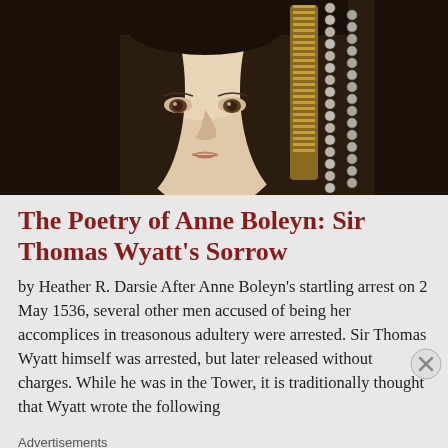[Figure (photo): Portrait painting of Anne Boleyn, cropped to show face and upper head, wearing a dark hood with gold and pearl decorations against a dark background]
The Poetry of Anne Boleyn: Sir Thomas Wyatt's Sorrow
by Heather R. Darsie After Anne Boleyn's startling arrest on 2 May 1536, several other men accused of being her accomplices in treasonous adultery were arrested. Sir Thomas Wyatt himself was arrested, but later released without charges. While he was in the Tower, it is traditionally thought that Wyatt wrote the following
Advertisements